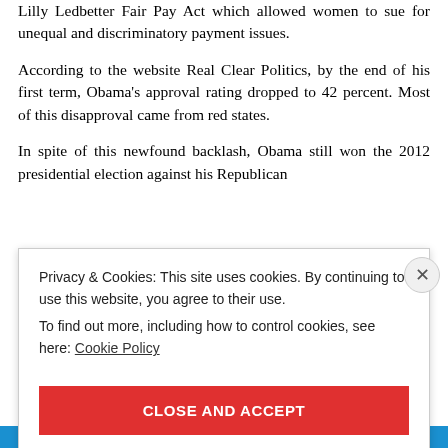Lilly Ledbetter Fair Pay Act which allowed women to sue for unequal and discriminatory payment issues.
According to the website Real Clear Politics, by the end of his first term, Obama's approval rating dropped to 42 percent. Most of this disapproval came from red states.
In spite of this newfound backlash, Obama still won the 2012 presidential election against his Republican opponent, Mitt R...
Privacy & Cookies: This site uses cookies. By continuing to use this website, you agree to their use.
To find out more, including how to control cookies, see here: Cookie Policy
CLOSE AND ACCEPT